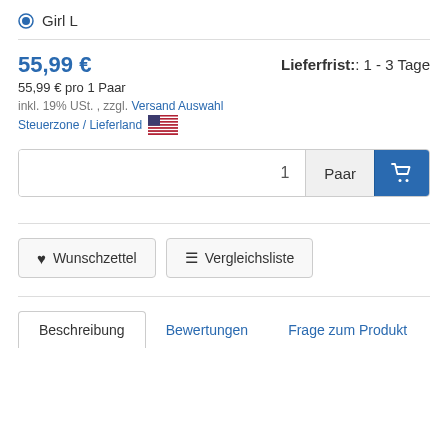Girl L
55,99 €
55,99 € pro 1 Paar
inkl. 19% USt. , zzgl. Versand Auswahl Steuerzone / Lieferland
Lieferfrist:: 1 - 3 Tage
1   Paar
♥ Wunschzettel
≡ Vergleichsliste
Beschreibung
Bewertungen
Frage zum Produkt